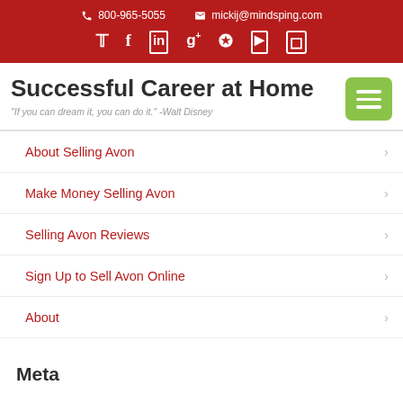800-965-5055  mickij@mindsping.com
Successful Career at Home
"If you can dream it, you can do it." -Walt Disney
About Selling Avon
Make Money Selling Avon
Selling Avon Reviews
Sign Up to Sell Avon Online
About
Meta